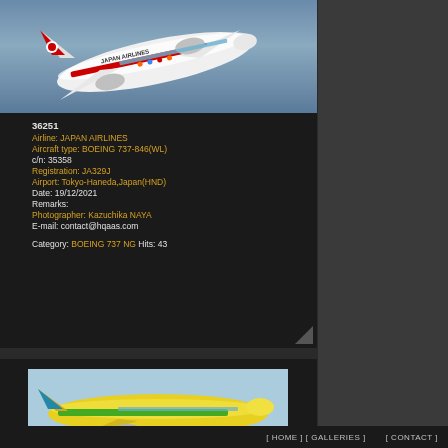[Figure (photo): Japan Airlines Boeing 737-846(WL) aircraft departing, viewed from below against blue sky, with JAL logo and decorative livery visible on fuselage]
36251
Airline: JAPAN AIRLINES
Aircraft type: BOEING 737-846(WL)
c/n: 35358
Registration: JA329J
Airport: Tokyo-Haneda,Japan(HND)
Date: 19/12/2021
Remarks:
Photographer: Kazuchika NAYA
E-mail: contact@hqaas.com

Category: BOEING 737 NG Hits: 43
[Figure (photo): Partial view of a colorful aircraft (yellow/green livery) on the ground or taxiing, blue sky background]
[ HOME ] [ GALLERIES ]     [ CONTACT ]